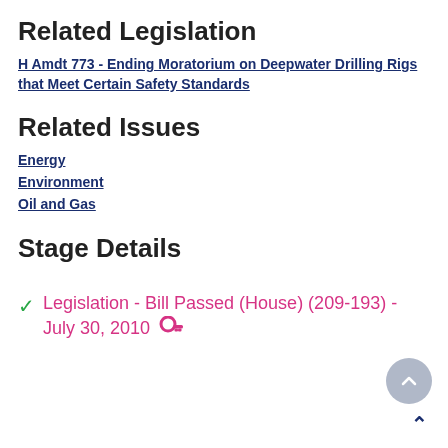Related Legislation
H Amdt 773 - Ending Moratorium on Deepwater Drilling Rigs that Meet Certain Safety Standards
Related Issues
Energy
Environment
Oil and Gas
Stage Details
Legislation - Bill Passed (House) (209-193) - July 30, 2010